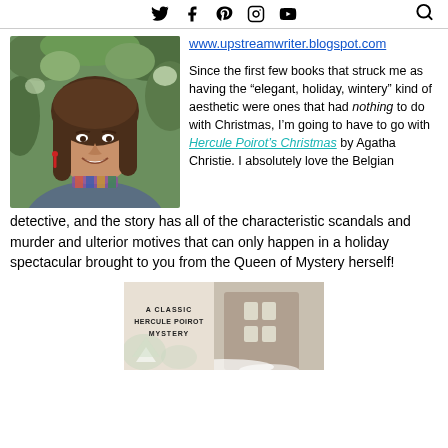Social media icons: Twitter, Facebook, Pinterest, Instagram, YouTube; Search icon
[Figure (photo): Headshot of a smiling young woman with long brown hair, wearing a blue top and colorful necklace, outdoors with green foliage in background]
www.upstreamwriter.blogspot.com
Since the first few books that struck me as having the “elegant, holiday, wintery” kind of aesthetic were ones that had nothing to do with Christmas, I’m going to have to go with Hercule Poirot’s Christmas by Agatha Christie. I absolutely love the Belgian detective, and the story has all of the characteristic scandals and murder and ulterior motives that can only happen in a holiday spectacular brought to you from the Queen of Mystery herself!
[Figure (photo): Book cover of a Hercule Poirot mystery, showing a classic building with snow, labeled 'A Classic Hercule Poirot Mystery']